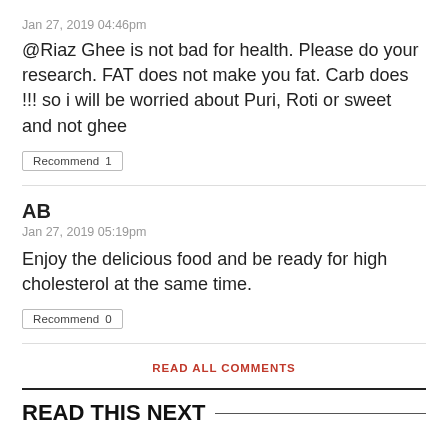Jan 27, 2019 04:46pm
@Riaz Ghee is not bad for health. Please do your research. FAT does not make you fat. Carb does !!! so i will be worried about Puri, Roti or sweet and not ghee
Recommend  1
AB
Jan 27, 2019 05:19pm
Enjoy the delicious food and be ready for high cholesterol at the same time.
Recommend  0
READ ALL COMMENTS
READ THIS NEXT